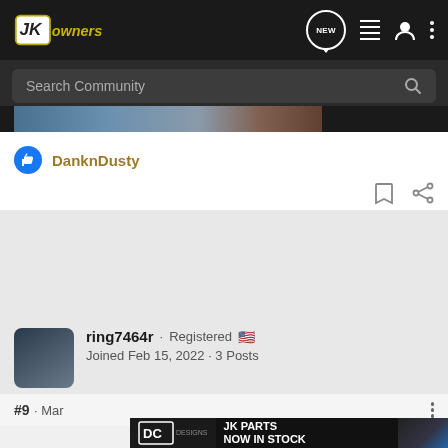JKOwners - navigation bar with logo, NEW chat, list, user, and menu icons
Search Community
[Figure (screenshot): Partial image strip showing a photo of a Jeep or outdoor scene]
DanknDusty
#9 · Mar...
ring7464r · Registered 🇺🇸
Joined Feb 15, 2022 · 3 Posts
[Figure (advertisement): DC Designs ad banner: JK PARTS NOW IN STOCK]